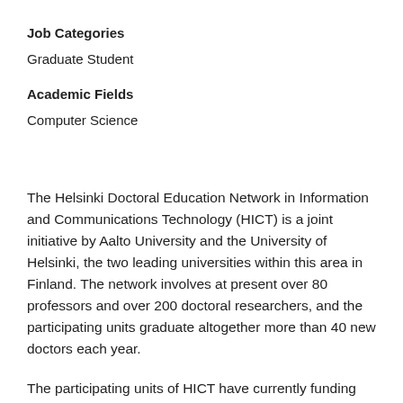Job Categories
Graduate Student
Academic Fields
Computer Science
The Helsinki Doctoral Education Network in Information and Communications Technology (HICT) is a joint initiative by Aalto University and the University of Helsinki, the two leading universities within this area in Finland. The network involves at present over 80 professors and over 200 doctoral researchers, and the participating units graduate altogether more than 40 new doctors each year.
The participating units of HICT have currently funding